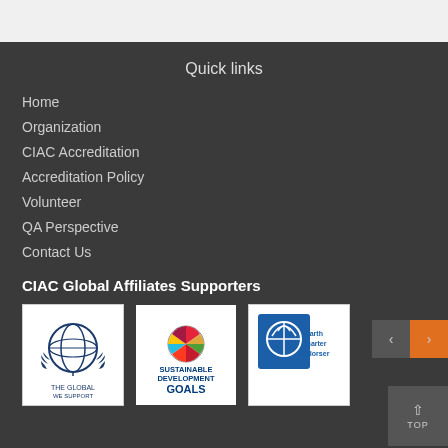Quick links
Home
Organization
CIAC Accreditation
Accreditation Policy
Volunteer
QA Perspective
Contact Us
CIAC Global Affiliates Supporters
[Figure (logo): The Global Compact - We Support logo (globe with laurel wreath, white background)]
[Figure (logo): Sustainable Development Goals logo (colorful circular icon with text SUSTAINABLE DEVELOPMENT GOALS)]
[Figure (logo): Earth Charter Endorser logo (blue globe with signal waves, white background)]